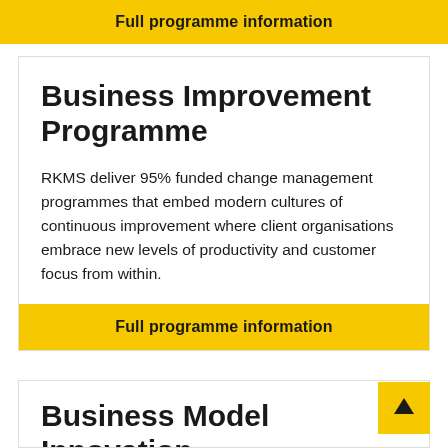Full programme information
Business Improvement Programme
RKMS deliver 95% funded change management programmes that embed modern cultures of continuous improvement where client organisations embrace new levels of productivity and customer focus from within.
Full programme information
Business Model Innovation